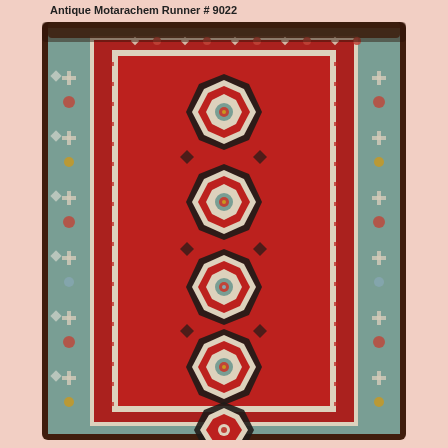Antique Motarachem Runner # 9022
[Figure (photo): Antique Motarachem Runner rug #9022 — a long, narrow Caucasian-style runner with a deep red field, four large stepped octagonal medallions with geometric interior motifs in ivory, blue, gold, and green, surrounded by multiple borders including a teal/blue outer border with stylized floral and geometric patterns, an ivory guard border with small motifs, and dark brown outermost edge binding. The rug shows signs of age and authentic antique character.]